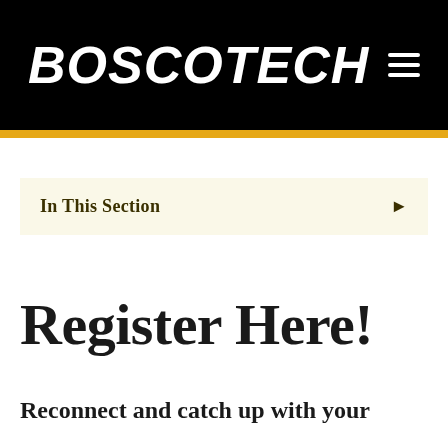BoscoTech
In This Section
Register Here!
Reconnect and catch up with your